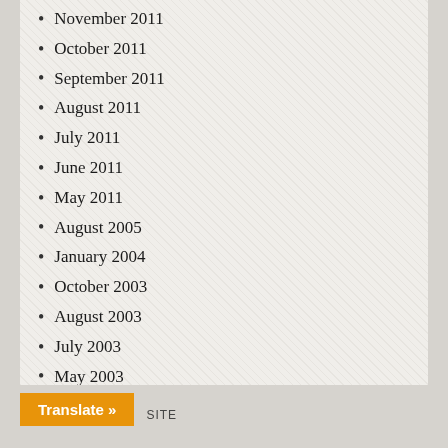November 2011
October 2011
September 2011
August 2011
July 2011
June 2011
May 2011
August 2005
January 2004
October 2003
August 2003
July 2003
May 2003
April 2003
March 2003
February 2003
Translate » SITE